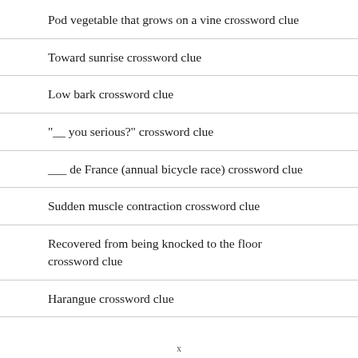Pod vegetable that grows on a vine crossword clue
Toward sunrise crossword clue
Low bark crossword clue
"__ you serious?" crossword clue
___ de France (annual bicycle race) crossword clue
Sudden muscle contraction crossword clue
Recovered from being knocked to the floor crossword clue
Harangue crossword clue
x